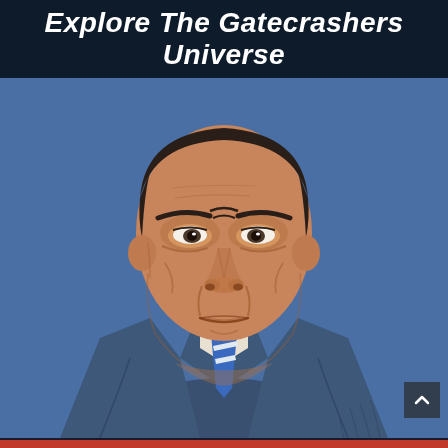Explore The Gatecrashers Universe
[Figure (illustration): Comic-style illustration of a stern-looking middle-aged man with a weathered face, wearing a dark blue suit with a blue and white striped tie over a white shirt. He has short dark hair and an intense, disapproving expression. The background is a flat blue color. The art style is reminiscent of classic European comic books (bande dessinée).]